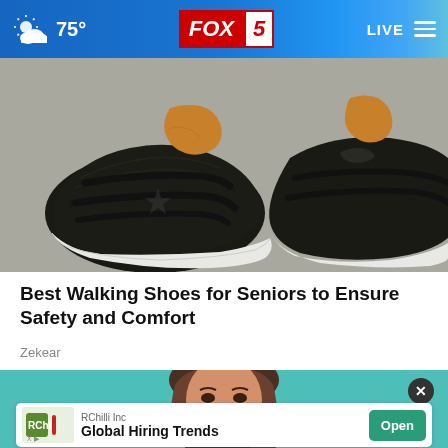75° FOX 5 LIVE
[Figure (photo): Close-up photo of black walking shoes with velcro straps and white soles on a gray surface, showing two shoes from ankle height]
Best Walking Shoes for Seniors to Ensure Safety and Comfort
Zekear
[Figure (photo): Partial photo of a young woman with brown hair holding a dark credit card, on a teal/green background, with an advertisement banner overlay for RChilli Inc showing Global Hiring Trends with an Open button]